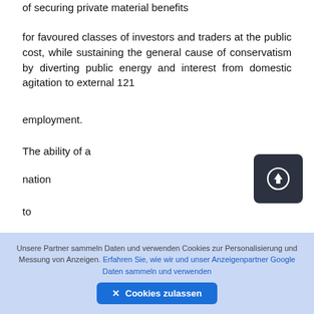of securing private material benefits
for favoured classes of investors and traders at the public cost, while sustaining the general cause of conservatism by diverting public energy and interest from domestic agitation to external 121
employment.
The ability of a
nation
to
[Figure (other): Dark rounded square button with a circular upload/arrow icon in white, positioned in the lower right area of the text content]
Unsere Partner sammeln Daten und verwenden Cookies zur Personalisierung und Messung von Anzeigen. Erfahren Sie, wie wir und unser Anzeigenpartner Google Daten sammeln und verwenden
✕ Cookies zulassen